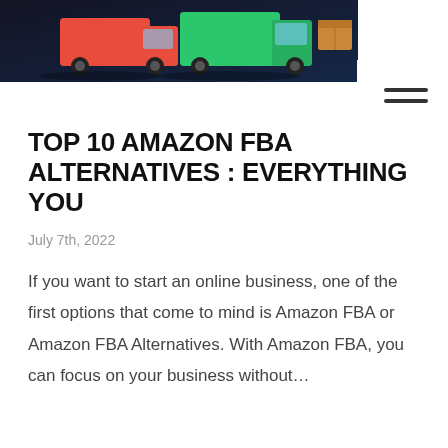[Figure (illustration): Hero image showing colorful delivery trucks (red and green/teal) on a dark background, with a cardboard box and a circular arrow icon, representing Amazon FBA logistics]
TOP 10 AMAZON FBA ALTERNATIVES : EVERYTHING YOU
July 7th, 2022
If you want to start an online business, one of the first options that come to mind is Amazon FBA or Amazon FBA Alternatives. With Amazon FBA, you can focus on your business without…